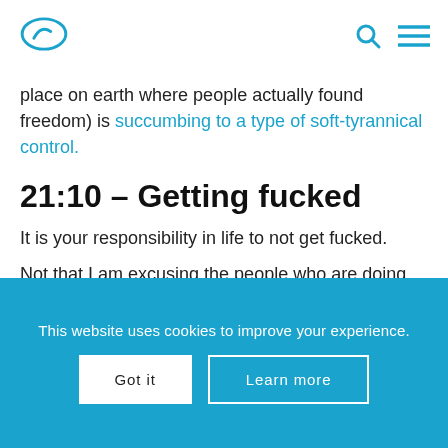[Logo] [Search icon] [Menu icon]
place on earth where people actually found freedom) is succumbing to a type of soft-tyrannical control.
21:10 – Getting fucked
It is your responsibility in life to not get fucked.
Not that I am excusing the people who are doing the fucking, but it is ultimately your responsibility
This website uses cookies to improve your experience.
Got it   Learn more